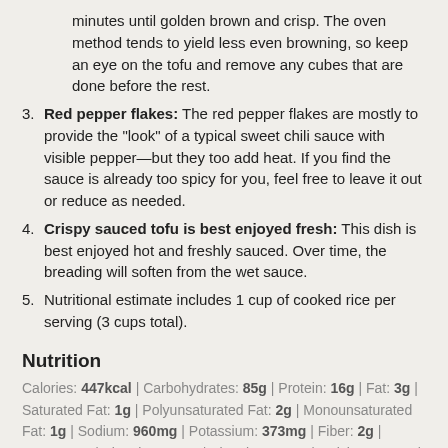minutes until golden brown and crisp. The oven method tends to yield less even browning, so keep an eye on the tofu and remove any cubes that are done before the rest.
3. Red pepper flakes: The red pepper flakes are mostly to provide the "look" of a typical sweet chili sauce with visible pepper—but they too add heat. If you find the sauce is already too spicy for you, feel free to leave it out or reduce as needed.
4. Crispy sauced tofu is best enjoyed fresh: This dish is best enjoyed hot and freshly sauced. Over time, the breading will soften from the wet sauce.
5. Nutritional estimate includes 1 cup of cooked rice per serving (3 cups total).
Nutrition
Calories: 447kcal | Carbohydrates: 85g | Protein: 16g | Fat: 3g | Saturated Fat: 1g | Polyunsaturated Fat: 2g | Monounsaturated Fat: 1g | Sodium: 960mg | Potassium: 373mg | Fiber: 2g | Sugar: 24g | Vitamin A: 53IU | Vitamin C: 2mg | Calcium: 79mg | Iron: 3mg